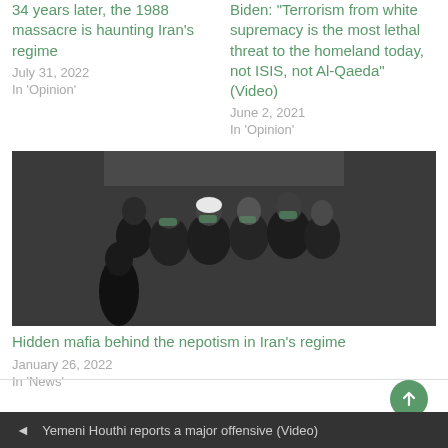34 years later, the 1988 massacre is haunting Iran's regime
July 31, 2022
In 'Opinion'
Biden: "Terrorism from white supremacy is the most lethal threat to the homeland today, not ISIS, not Al-Qaeda" (Video)
June 2, 2021
In 'Opinion'
[Figure (photo): Group of men wearing face masks in a crowded indoor setting, some in clerical dress]
Hidden mafia behind the nepotism in Iran's regime
January 26, 2022
In 'News'
◄ Yemeni Houthi reports a major offensive (Video)